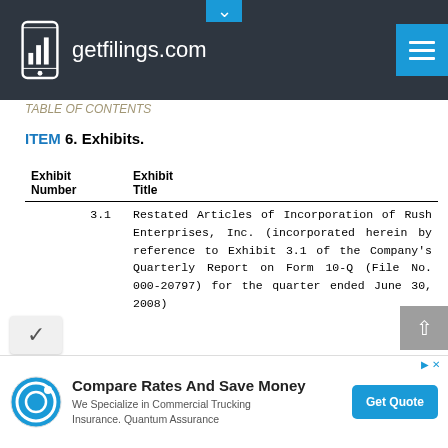getfilings.com
ITEM 6. Exhibits.
| Exhibit Number | Exhibit Title |
| --- | --- |
| 3.1 | Restated Articles of Incorporation of Rush Enterprises, Inc. (incorporated herein by reference to Exhibit 3.1 of the Company's Quarterly Report on Form 10-Q (File No. 000-20797) for the quarter ended June 30, 2008) |